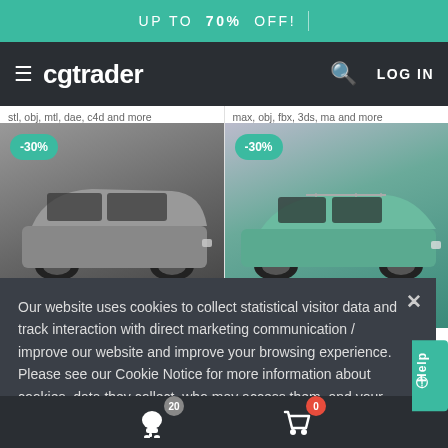UP TO 70% OFF!
cgtrader  LOG IN
stl, obj, mtl, dae, c4d and more
max, obj, fbx, 3ds, ma and more
[Figure (photo): 3D model car product image - gray station wagon, -30% discount badge]
[Figure (photo): 3D model car product image - teal/blue sedan, -30% discount badge]
Our website uses cookies to collect statistical visitor data and track interaction with direct marketing communication / improve our website and improve your browsing experience. Please see our Cookie Notice for more information about cookies, data they collect, who may access them, and your rights. Learn more
Accept